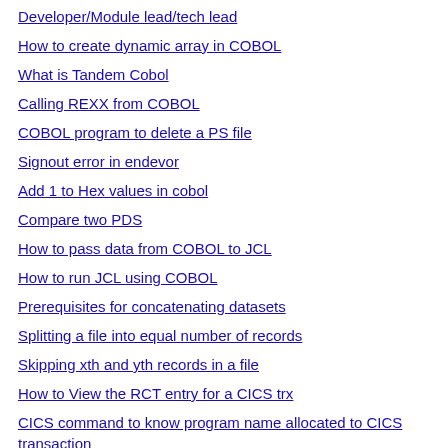Developer/Module lead/tech lead
How to create dynamic array in COBOL
What is Tandem Cobol
Calling REXX from COBOL
COBOL program to delete a PS file
Signout error in endevor
Add 1 to Hex values in cobol
Compare two PDS
How to pass data from COBOL to JCL
How to run JCL using COBOL
Prerequisites for concatenating datasets
Splitting a file into equal number of records
Skipping xth and yth records in a file
How to View the RCT entry for a CICS trx
CICS command to know program name allocated to CICS transaction
CICS command to know DSN name allocated to CICS file name